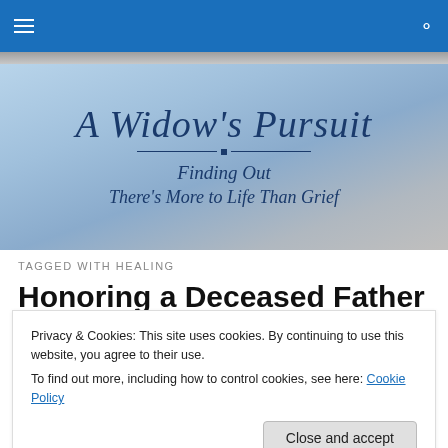A Widow's Pursuit – Finding Out There's More to Life Than Grief
TAGGED WITH HEALING
Honoring a Deceased Father
Privacy & Cookies: This site uses cookies. By continuing to use this website, you agree to their use.
To find out more, including how to control cookies, see here: Cookie Policy
for Father's Day to those who have lost a father. These are